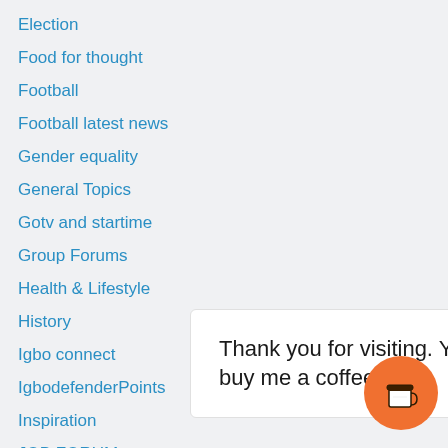Election
Food for thought
Football
Football latest news
Gender equality
General Topics
Gotv and startime
Group Forums
Health & Lifestyle
History
Igbo connect
IgbodefenderPoints
Inspiration
JOB FORUM
Laughter
Leadership q
Marriage nec
Thank you for visiting. You can now buy me a coffee!